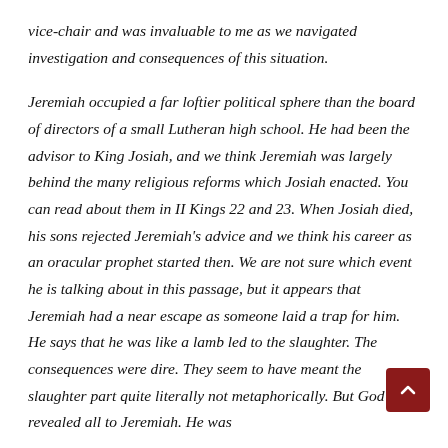vice-chair and was invaluable to me as we navigated investigation and consequences of this situation.
Jeremiah occupied a far loftier political sphere than the board of directors of a small Lutheran high school. He had been the advisor to King Josiah, and we think Jeremiah was largely behind the many religious reforms which Josiah enacted. You can read about them in II Kings 22 and 23. When Josiah died, his sons rejected Jeremiah's advice and we think his career as an oracular prophet started then. We are not sure which event he is talking about in this passage, but it appears that Jeremiah had a near escape as someone laid a trap for him. He says that he was like a lamb led to the slaughter. The consequences were dire. They seem to have meant the slaughter part quite literally not metaphorically. But God revealed all to Jeremiah. He was